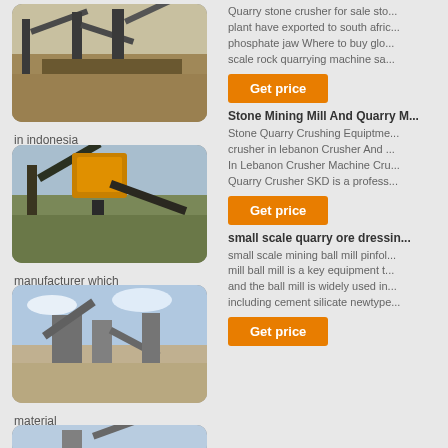[Figure (photo): Quarry stone crusher plant in desert/arid landscape with conveyor belts]
in indonesia
[Figure (photo): Yellow quarry stone crusher and conveyor machinery at mining site]
manufacturer which
[Figure (photo): Grey stone crusher plant with multiple conveyors against blue sky]
material
[Figure (photo): Partial view of quarry crushing plant]
Quarry stone crusher for sale sto... plant have exported to south afric... phosphate jaw Where to buy glo... scale rock quarrying machine sa...
[Figure (other): Get price button]
Stone Mining Mill And Quarry M...
Stone Quarry Crushing Equiptme... crusher in lebanon Crusher And ... In Lebanon Crusher Machine Cru... Quarry Crusher SKD is a profess...
[Figure (other): Get price button]
small scale quarry ore dressin...
small scale mining ball mill pinfol... mill ball mill is a key equipment t... and the ball mill is widely used in... including cement silicate newtype...
[Figure (other): Get price button]